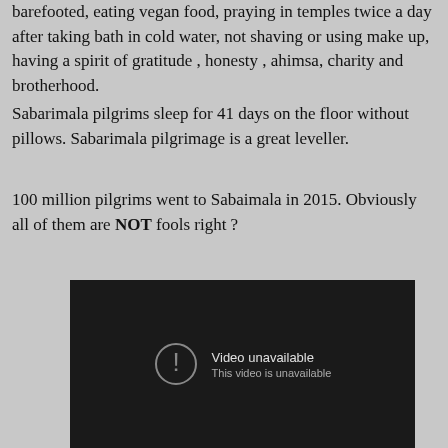barefooted, eating vegan food, praying in temples twice a day after taking bath in cold water, not shaving or using make up, having a spirit of gratitude , honesty , ahimsa, charity and brotherhood.
Sabarimala pilgrims sleep for 41 days on the floor without pillows.  Sabarimala pilgrimage is a great leveller.
100 million pilgrims went to Sabaimala in 2015.  Obviously all of them are NOT fools right ?
[Figure (screenshot): Embedded video player showing 'Video unavailable - This video is unavailable' message on a dark background]